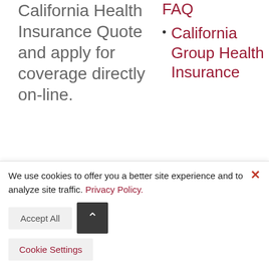California Health Insurance Quote and apply for coverage directly on-line.
FAQ
California Group Health Insurance
Call us today, toll free at
(800) 746-
We use cookies to offer you a better site experience and to analyze site traffic. Privacy Policy.
Accept All
Cookie Settings